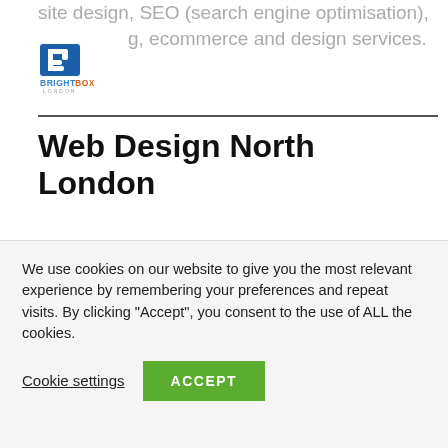site design, SEO (search engine optimisation), ...g, ecommerce and design services.
[Figure (logo): BrightBox London logo with icon and text]
Web Design North London
Based in London we are happy to visit you at your business premises or you are welcome to visit us in our London offices to discuss your project in detail with no obligation on your part.Â Brightbox Marketing is founded on the premise that a small team of experienced website designers will be more
We use cookies on our website to give you the most relevant experience by remembering your preferences and repeat visits. By clicking “Accept”, you consent to the use of ALL the cookies.
Cookie settings  ACCEPT